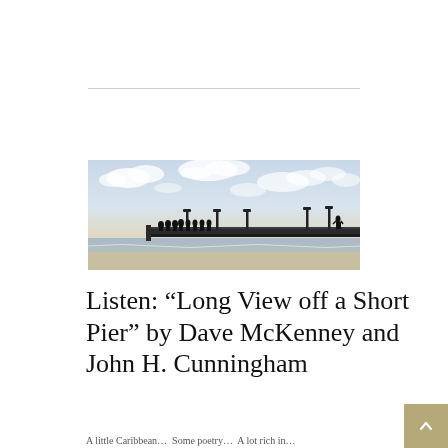[Figure (photo): Silhouetted group of people standing on a long pier extending over calm water, with lampposts along the pier and a cloudy sky in the background. One person stands apart at the far right end of the pier.]
Listen: “Long View off a Short Pier” by Dave McKenney and John H. Cunningham
A little Caribbean... Some poetry... A lot rich in...